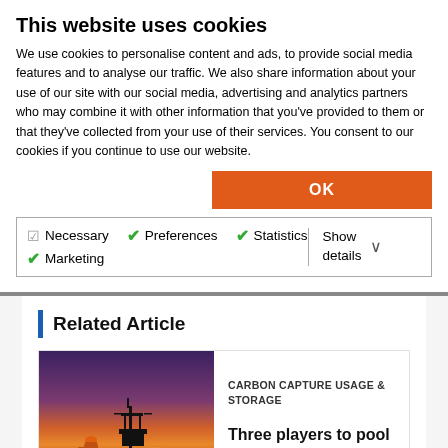This website uses cookies
We use cookies to personalise content and ads, to provide social media features and to analyse our traffic. We also share information about your use of our site with our social media, advertising and analytics partners who may combine it with other information that you've provided to them or that they've collected from your use of their services. You consent to our cookies if you continue to use our website.
OK
Necessary  Preferences  Statistics  Marketing  Show details
Related Article
[Figure (photo): Worker in orange hard hat and vest standing on offshore oil rig platform at sunset, with oil rig silhouetted against purple-orange sky over water]
CARBON CAPTURE USAGE & STORAGE
Three players to pool resources for Thai CCS project
4 months ago